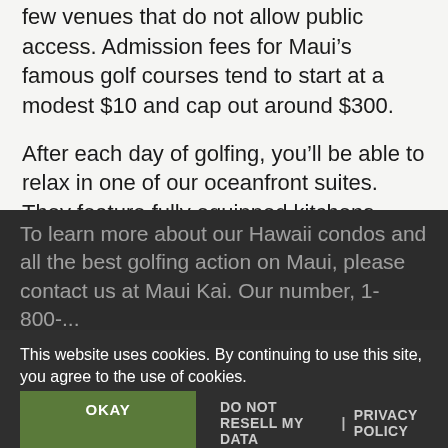few venues that do not allow public access. Admission fees for Maui's famous golf courses tend to start at a modest $10 and cap out around $300.
After each day of golfing, you'll be able to relax in one of our oceanfront suites. They feature fully equipped kitchens, central AC, Wi-Fi, iPod docking stations and so much more. There is even a Jacuzzi and heated pool on site where you can relax your muscles before slipping under the covers for the night.
To learn more about our Hawaii condos and all the best golfing action on Maui, please contact us at Maui Kai. Our number, 1-800-...
This website uses cookies. By continuing to use this site, you agree to the use of cookies.